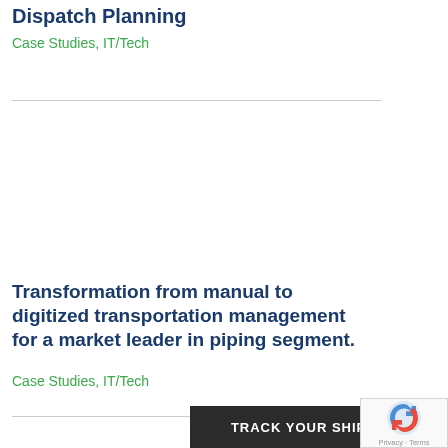Dispatch Planning
Case Studies, IT/Tech
Transformation from manual to digitized transportation management for a market leader in piping segment.
Case Studies, IT/Tech
TRACK YOUR SHIPMENT